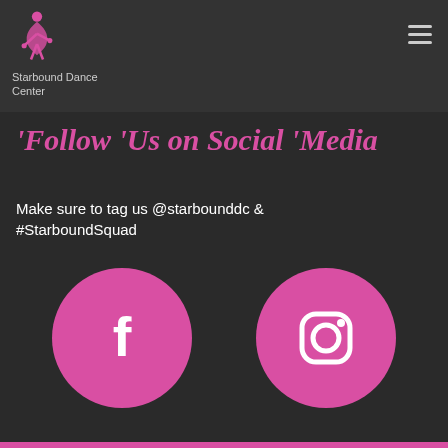Starbound Dance Center
Follow Us on Social Media
Make sure to tag us @starbounddc & #StarboundSquad
[Figure (logo): Pink circular Facebook icon]
[Figure (logo): Pink circular Instagram icon]